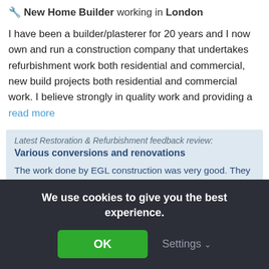🔧 New Home Builder working in London
I have been a builder/plasterer for 20 years and I now own and run a construction company that undertakes refurbishment work both residential and commercial, new build projects both residential and commercial work. I believe strongly in quality work and providing a read more
Latest Restoration & Refurbishment feedback review: Various conversions and renovations
The work done by EGL construction was very good. They were flexible when my purchase delays happened. They worked hard to finish work so I could move in. A lot of good ideas were given. A wide range...
We use cookies to give you the best experience.